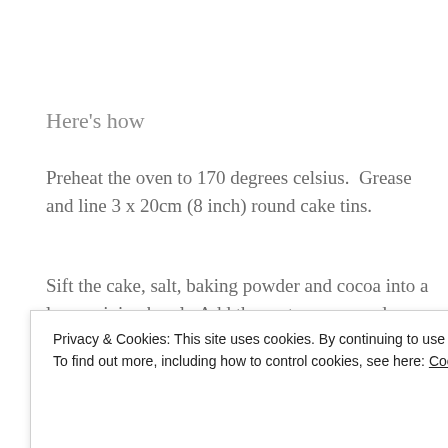Here’s how
Preheat the oven to 170 degrees celsius.  Grease and line 3 x 20cm (8 inch) round cake tins.
Sift the cake, salt, baking powder and cocoa into a large mixing bowl.  Add the castor sugar and butter to
Privacy & Cookies: This site uses cookies. By continuing to use this website, you agree to their use.
To find out more, including how to control cookies, see here: Cookie Policy
Close and accept